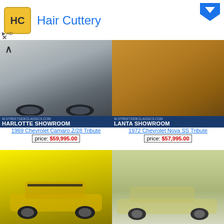[Figure (screenshot): Hair Cuttery advertisement banner with yellow HC logo and blue title text, with a blue dropdown arrow in upper right]
[Figure (photo): 1969 Chevrolet Camaro Z/28 Tribute - silver/white muscle car front view, Charlotte Showroom]
1969 Chevrolet Camaro Z/28 Tribute
price: $59,995.00
[Figure (photo): 1972 Chevrolet Nova SS Tribute - gold/orange muscle car, Atlanta Showroom]
1972 Chevrolet Nova SS Tribute
price: $57,995.00
[Figure (photo): Yellow 1971 Chevrolet Camaro SS muscle car front 3/4 view with black racing stripes]
[Figure (photo): Pale yellow classic Chevrolet muscle car side profile view in parking lot]